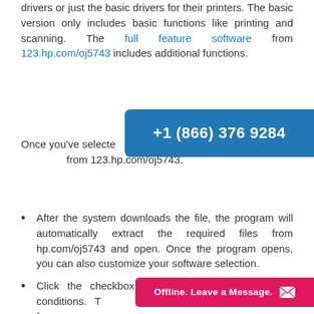drivers or just the basic drivers for their printers. The basic version only includes basic functions like printing and scanning. The full feature software from 123.hp.com/oj5743 includes additional functions.
[Figure (infographic): Blue rounded rectangle banner showing phone number +1 (866) 376 9284]
Once you've selected Continue to download from 123.hp.com/oj5743.
After the system downloads the file, the program will automatically extract the required files from hp.com/oj5743 and open. Once the program opens, you can also customize your software selection.
Click the checkbox to agree to HP's terms and conditions. Then press Next to agree to move fo
[Figure (infographic): Pink/magenta rounded rectangle banner showing 'Offline. Leave a Message.' with an envelope icon]